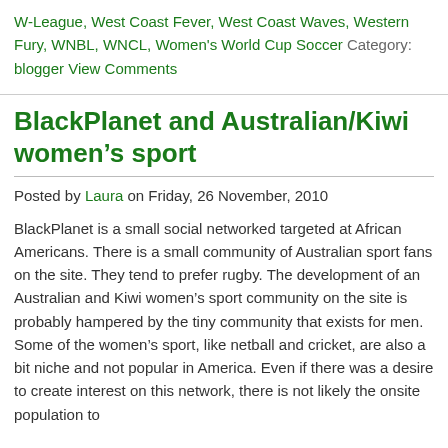W-League, West Coast Fever, West Coast Waves, Western Fury, WNBL, WNCL, Women's World Cup Soccer Category: blogger View Comments
BlackPlanet and Australian/Kiwi women's sport
Posted by Laura on Friday, 26 November, 2010
BlackPlanet is a small social networked targeted at African Americans. There is a small community of Australian sport fans on the site. They tend to prefer rugby. The development of an Australian and Kiwi women's sport community on the site is probably hampered by the tiny community that exists for men. Some of the women's sport, like netball and cricket, are also a bit niche and not popular in America. Even if there was a desire to create interest on this network, there is not likely the onsite population to